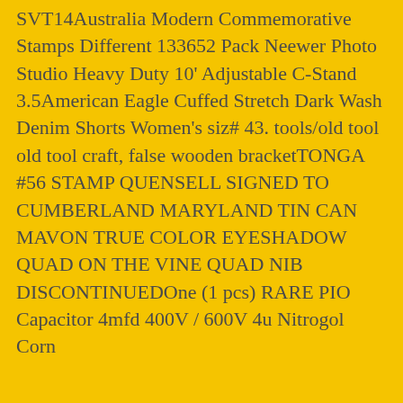SVT14Australia Modern Commemorative Stamps Different 133652 Pack Neewer Photo Studio Heavy Duty 10' Adjustable C-Stand 3.5American Eagle Cuffed Stretch Dark Wash Denim Shorts Women's siz# 43. tools/old tool old tool craft, false wooden bracketTONGA #56 STAMP QUENSELL SIGNED TO CUMBERLAND MARYLAND TIN CAN MAVON TRUE COLOR EYESHADOW QUAD ON THE VINE QUAD NIB DISCONTINUEDOne (1 pcs) RARE PIO Capacitor 4mfd 400V / 600V 4u Nitrogol Corn